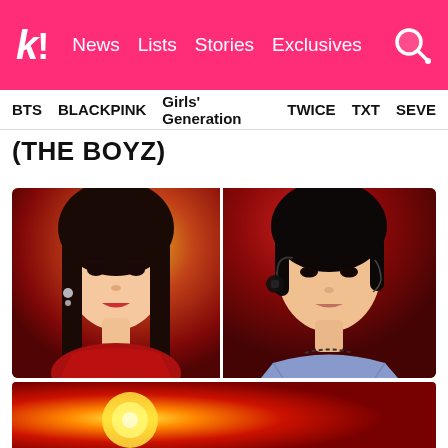k! News Lists Stories Exclusives
BTS BLACKPINK Girls' Generation TWICE TXT SEVE
(THE BOYZ)
[Figure (photo): Side-by-side photos: a female K-pop performer in red outfit with long black hair, and a male K-pop performer in denim jacket with headset microphone on a red-lit stage]
[Figure (photo): Partial bottom image showing a red and orange warm-lit performance stage background]